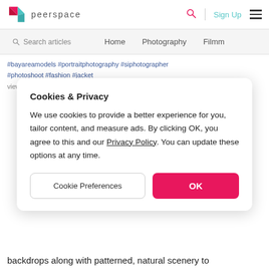peerspace — Sign Up
Search articles  Home  Photography  Filmm
#bayareamodels #portraitphotography #siphotographer #photoshoot #fashion #jacket
view all comments
Cookies & Privacy
We use cookies to provide a better experience for you, tailor content, and measure ads. By clicking OK, you agree to this and our Privacy Policy. You can update these options at any time.
Cookie Preferences    OK
backdrops along with patterned, natural scenery to